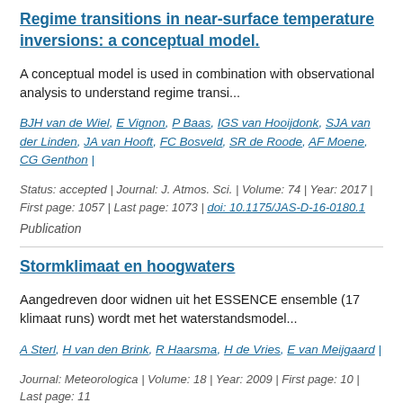Regime transitions in near-surface temperature inversions: a conceptual model.
A conceptual model is used in combination with observational analysis to understand regime transi...
BJH van de Wiel, E Vignon, P Baas, IGS van Hooijdonk, SJA van der Linden, JA van Hooft, FC Bosveld, SR de Roode, AF Moene, CG Genthon | Status: accepted | Journal: J. Atmos. Sci. | Volume: 74 | Year: 2017 | First page: 1057 | Last page: 1073 | doi: 10.1175/JAS-D-16-0180.1
Publication
Stormklimaat en hoogwaters
Aangedreven door widnen uit het ESSENCE ensemble (17 klimaat runs) wordt met het waterstandsmodel...
A Sterl, H van den Brink, R Haarsma, H de Vries, E van Meijgaard | Journal: Meteorologica | Volume: 18 | Year: 2009 | First page: 10 | Last page: 11